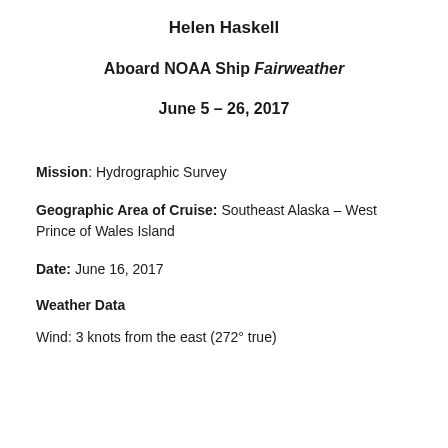Helen Haskell
Aboard NOAA Ship Fairweather
June 5 – 26, 2017
Mission: Hydrographic Survey
Geographic Area of Cruise: Southeast Alaska – West Prince of Wales Island
Date: June 16, 2017
Weather Data
Wind:  3 knots from the east (272° true)